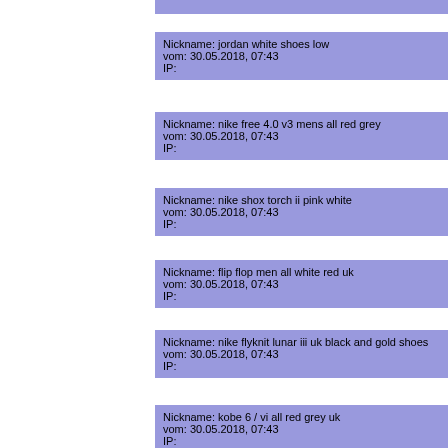Nickname: jordan white shoes low
vom: 30.05.2018, 07:43
IP:
Nickname: nike free 4.0 v3 mens all red grey
vom: 30.05.2018, 07:43
IP:
Nickname: nike shox torch ii pink white
vom: 30.05.2018, 07:43
IP:
Nickname: flip flop men all white red uk
vom: 30.05.2018, 07:43
IP:
Nickname: nike flyknit lunar iii uk black and gold shoes
vom: 30.05.2018, 07:43
IP:
Nickname: kobe 6 / vi all red grey uk
vom: 30.05.2018, 07:43
IP: